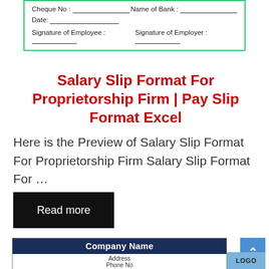[Figure (other): Top portion of a salary slip form with fields: Cheque No, Name of Bank, Date, Signature of Employee, Signature of Employer. Green border.]
Salary Slip Format For Proprietorship Firm | Pay Slip Format Excel
Here is the Preview of Salary Slip Format For Proprietorship Firm Salary Slip Format For …
Read more
[Figure (other): Bottom portion of a salary slip form showing Company Name header in dark navy, Address and Phone No fields, with a LOGO placeholder.]